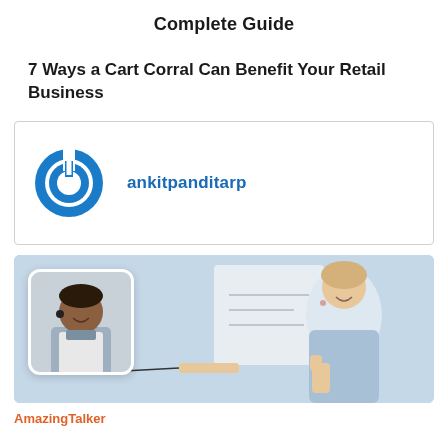Complete Guide
7 Ways a Cart Corral Can Benefit Your Retail Business
[Figure (logo): Author card with blue power-button style circular logo and username 'ankitpanditarp' in blue bold text]
[Figure (photo): Promotional banner image showing a woman smiling with a thumbs up gesture and a smaller inset photo of a man smiling, both in a professional setting]
AmazingTalker